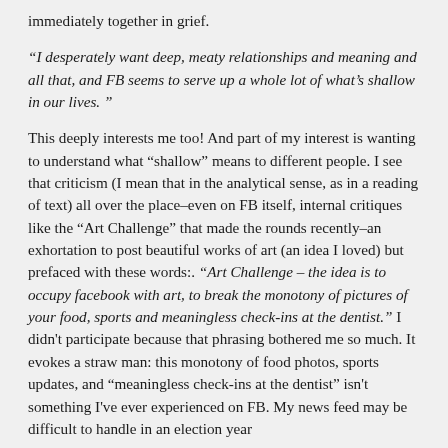immediately together in grief.
“I desperately want deep, meaty relationships and meaning and all that, and FB seems to serve up a whole lot of what’s shallow in our lives. ”
This deeply interests me too! And part of my interest is wanting to understand what “shallow” means to different people. I see that criticism (I mean that in the analytical sense, as in a reading of text) all over the place–even on FB itself, internal critiques like the “Art Challenge” that made the rounds recently–an exhortation to post beautiful works of art (an idea I loved) but prefaced with these words:. “Art Challenge – the idea is to occupy facebook with art, to break the monotony of pictures of your food, sports and meaningless check-ins at the dentist.” I didn't participate because that phrasing bothered me so much. It evokes a straw man: this monotony of food photos, sports updates, and “meaningless check-ins at the dentist” isn't something I've ever experienced on FB. My news feed may be difficult to handle in an election year